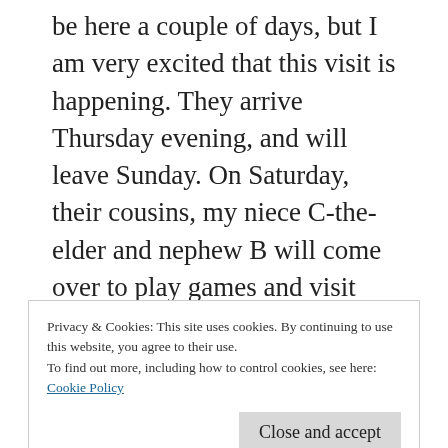be here a couple of days, but I am very excited that this visit is happening. They arrive Thursday evening, and will leave Sunday. On Saturday, their cousins, my niece C-the-elder and nephew B will come over to play games and visit and hang out for the day. Niece N sadly will be off vacationing in Mexico, but we will manage to have fun without her. This is fun for me, to have all the B and C nieces and nephew together, it has been a long time since they all came over to just hang out. Like in probably 6
Privacy & Cookies: This site uses cookies. By continuing to use this website, you agree to their use.
To find out more, including how to control cookies, see here: Cookie Policy
Close and accept